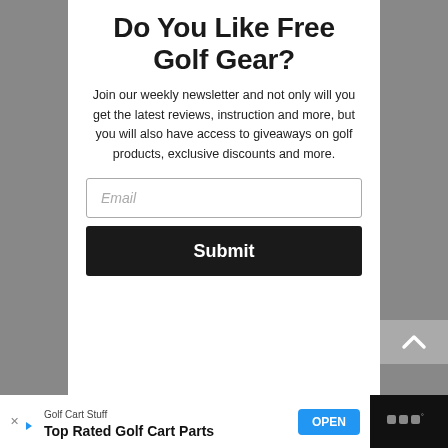Do You Like Free Golf Gear?
Join our weekly newsletter and not only will you get the latest reviews, instruction and more, but you will also have access to giveaways on golf products, exclusive discounts and more.
Email
Submit
Golf Cart Stuff
Top Rated Golf Cart Parts
OPEN